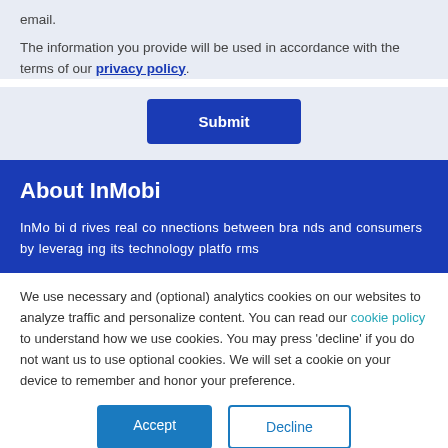email.
The information you provide will be used in accordance with the terms of our privacy policy.
Submit
About InMobi
InMobi drives real connections between brands and consumers by leveraging its technology platforms
We use necessary and (optional) analytics cookies on our websites to analyze traffic and personalize content. You can read our cookie policy to understand how we use cookies. You may press 'decline' if you do not want us to use optional cookies. We will set a cookie on your device to remember and honor your preference.
Accept
Decline